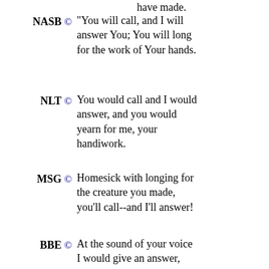have made.
NASB © "You will call, and I will answer You; You will long for the work of Your hands.
NLT © You would call and I would answer, and you would yearn for me, your handiwork.
MSG © Homesick with longing for the creature you made, you'll call--and I'll answer!
BBE © At the sound of your voice I would give an answer, and you would